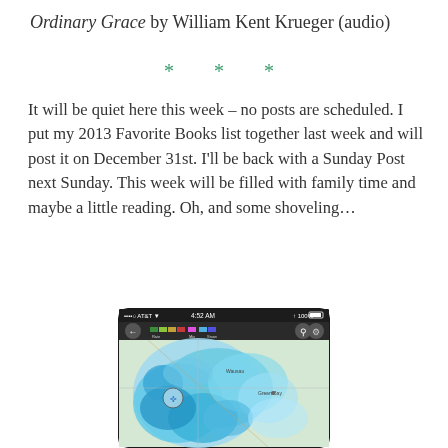Ordinary Grace by William Kent Krueger (audio)
* * *
It will be quiet here this week – no posts are scheduled. I put my 2013 Favorite Books list together last week and will post it on December 31st. I'll be back with a Sunday Post next Sunday. This week will be filled with family time and maybe a little reading. Oh, and some shoveling…
[Figure (screenshot): Screenshot of a radar weather app on an iPhone showing a blue/teal precipitation map over Wisconsin/Green Bay area with status bar showing AT&T carrier, 4:52 AM, 100% battery]